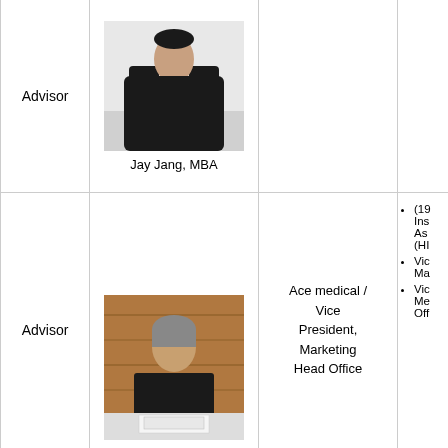Advisor
[Figure (photo): Portrait photo of Jay Jang, MBA - man in dark suit with tie]
Jay Jang, MBA
Advisor
[Figure (photo): Photo of JeongJi Jeong, Ph.D. - woman seated at table with wooden background]
JeongJi Jeong, Ph.D.
Ace medical / Vice President, Marketing Head Office
(19... Ins... As... (HI...
Vic... Ma...
Vic... Me... Off...